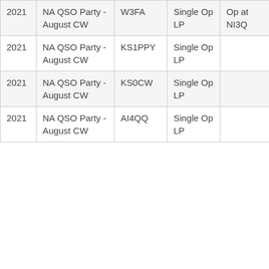| 2021 | NA QSO Party - August CW | W3FA | Single Op LP | Op at NI3Q |  |
| 2021 | NA QSO Party - August CW | KS1PPY | Single Op LP |  |  |
| 2021 | NA QSO Party - August CW | KS0CW | Single Op LP |  |  |
| 2021 | NA QSO Party - August CW | AI4QQ | Single Op LP |  |  |